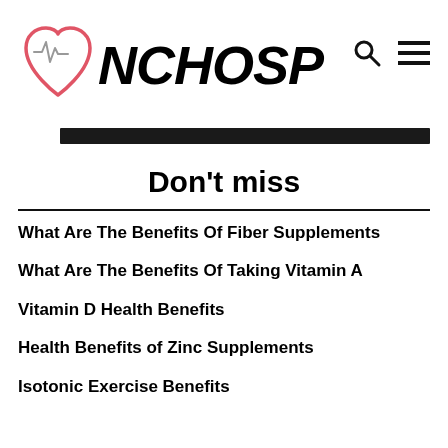[Figure (logo): NCHOSP logo with heart and EKG icon in pink/red outline, followed by bold italic NCHOSP text]
Don't miss
What Are The Benefits Of Fiber Supplements
What Are The Benefits Of Taking Vitamin A
Vitamin D Health Benefits
Health Benefits of Zinc Supplements
Isotonic Exercise Benefits